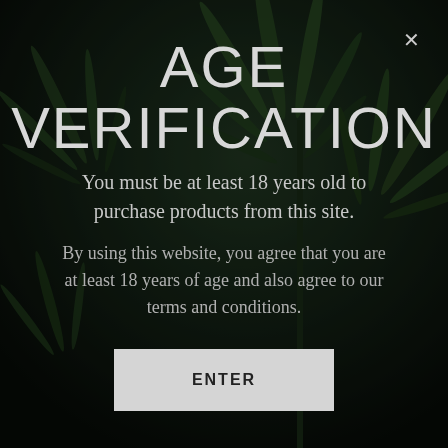[Figure (photo): Cannabis plant leaves background, dark green, close-up with dark overlay]
AGE VERIFICATION
You must be at least 18 years old to purchase products from this site.
By using this website, you agree that you are at least 18 years of age and also agree to our terms and conditions.
ENTER